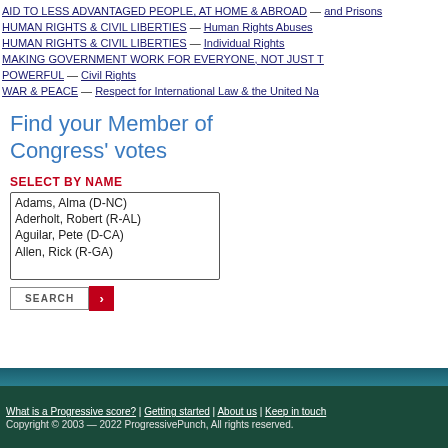AID TO LESS ADVANTAGED PEOPLE, AT HOME & ABROAD — and Prisons
HUMAN RIGHTS & CIVIL LIBERTIES — Human Rights Abuses
HUMAN RIGHTS & CIVIL LIBERTIES — Individual Rights
MAKING GOVERNMENT WORK FOR EVERYONE, NOT JUST THE POWERFUL — Civil Rights
WAR & PEACE — Respect for International Law & the United Nations
Find your Member of Congress' votes
SELECT BY NAME
| Adams, Alma (D-NC) |
| Aderholt, Robert (R-AL) |
| Aguilar, Pete (D-CA) |
| Allen, Rick (R-GA) |
What is a Progressive score? | Getting started | About us | Keep in touch
Copyright © 2003 — 2022 ProgressivePunch, All rights reserved.